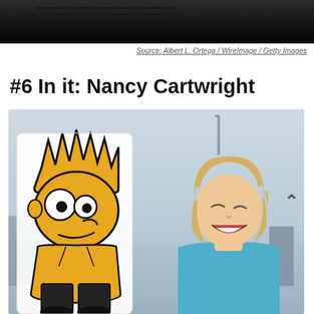[Figure (photo): Top portion of a photo showing a person in a black leather jacket, cropped at the top of the page]
Source: Albert L. Ortega / WireImage / Getty Images
#6 In it: Nancy Cartwright
[Figure (photo): Nancy Cartwright laughing and holding up a Bart Simpson cardboard cutout, with a cityscape in the background. She has blonde hair and is wearing a blue top.]